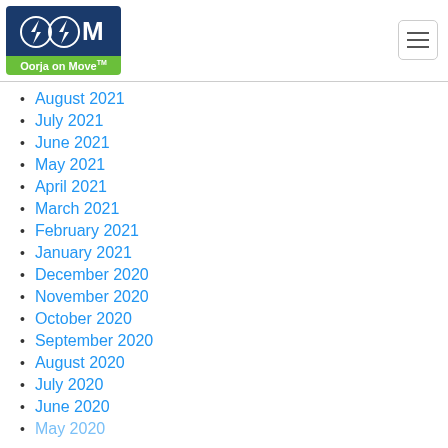Oorja on Move
August 2021
July 2021
June 2021
May 2021
April 2021
March 2021
February 2021
January 2021
December 2020
November 2020
October 2020
September 2020
August 2020
July 2020
June 2020
May 2020